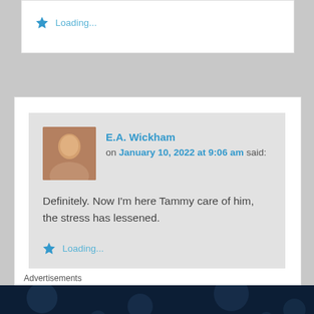Loading...
E.A. Wickham on January 10, 2022 at 9:06 am said:
Definitely. Now I'm here Tammy care of him, the stress has lessened.
Loading...
Advertisements